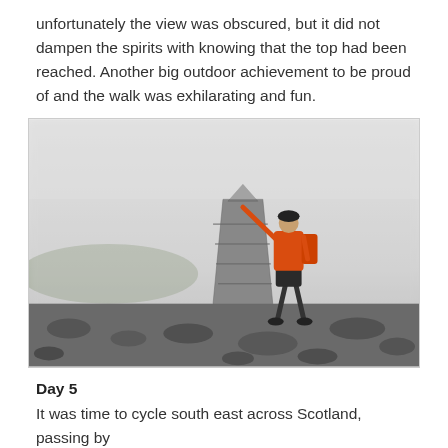unfortunately the view was obscured, but it did not dampen the spirits with knowing that the top had been reached. Another big outdoor achievement to be proud of and the walk was exhilarating and fun.
[Figure (photo): A hiker in an orange jacket and dark shorts stands on a rocky mountain summit cairn in dense fog or low cloud. The person reaches out to touch the top of the stone cairn. The rocky terrain is visible in the foreground and background, with a faint green hillside visible to the left through the mist.]
Day 5
It was time to cycle south east across Scotland, passing by